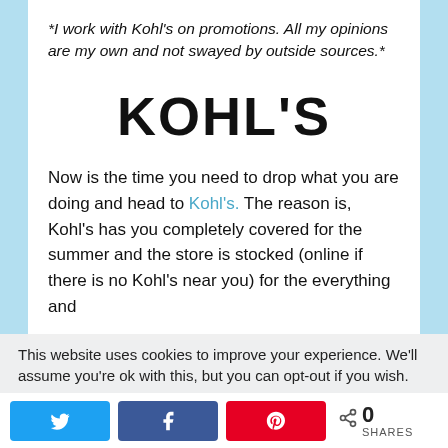*I work with Kohl's on promotions. All my opinions are my own and not swayed by outside sources.*
[Figure (logo): Kohl's bold black logo text]
Now is the time you need to drop what you are doing and head to Kohl's. The reason is, Kohl's has you completely covered for the summer and the store is stocked (online if there is no Kohl's near you) for the everything and
This website uses cookies to improve your experience. We'll assume you're ok with this, but you can opt-out if you wish.
0 SHARES